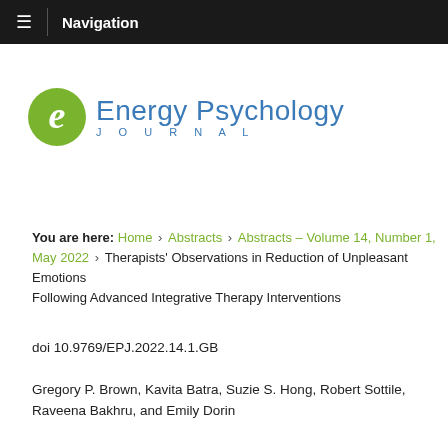Navigation
[Figure (logo): Energy Psychology Journal logo with green letter e circle and blue text]
You are here: Home › Abstracts › Abstracts – Volume 14, Number 1, May 2022 › Therapists' Observations in Reduction of Unpleasant Emotions Following Advanced Integrative Therapy Interventions
doi 10.9769/EPJ.2022.14.1.GB
Gregory P. Brown, Kavita Batra, Suzie S. Hong, Robert Sottile, Raveena Bakhru, and Emily Dorin